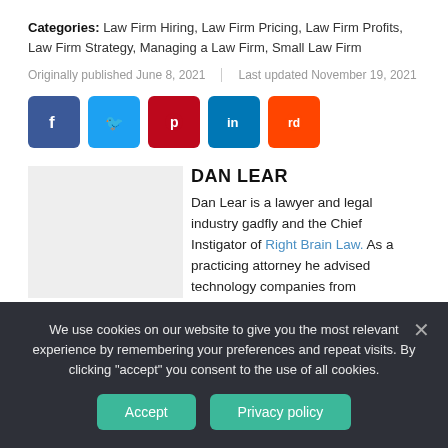Categories: Law Firm Hiring, Law Firm Pricing, Law Firm Profits, Law Firm Strategy, Managing a Law Firm, Small Law Firm
Originally published June 8, 2021 | Last updated November 19, 2021
[Figure (other): Social sharing buttons: Facebook, Twitter, Pinterest, LinkedIn, Reddit]
DAN LEAR
Dan Lear is a lawyer and legal industry gadfly and the Chief Instigator of Right Brain Law. As a practicing attorney he advised technology companies from